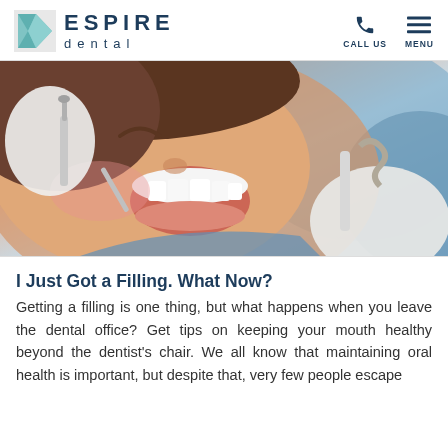ESPIRE dental | CALL US | MENU
[Figure (photo): Close-up photo of a woman smiling with mouth open during a dental exam, with a dentist holding tools examining her teeth, wearing white gloves, blue dental bib visible]
I Just Got a Filling. What Now?
Getting a filling is one thing, but what happens when you leave the dental office? Get tips on keeping your mouth healthy beyond the dentist's chair. We all know that maintaining oral health is important, but despite that, very few people escape